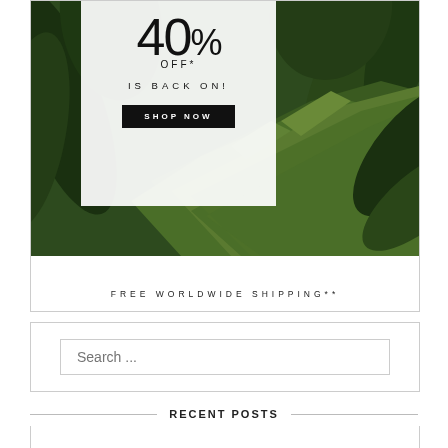[Figure (infographic): Promotional banner ad showing tropical palm leaves background with a white overlay card displaying '40% OFF* IS BACK ON!' text and a 'SHOP NOW' black button, with 'FREE WORLDWIDE SHIPPING**' text below]
Search ...
RECENT POSTS